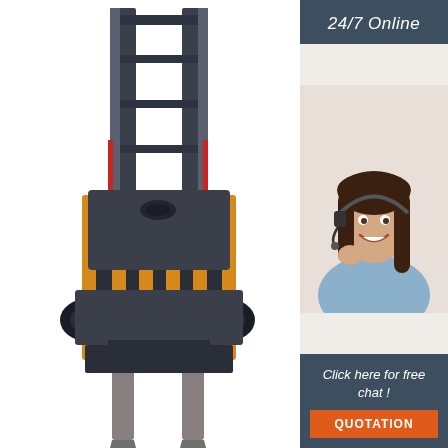[Figure (photo): Front view of a large industrial forklift with yellow mast frame and extended forks, dark blue/grey body, on white background]
[Figure (infographic): Sidebar widget with dark blue-grey background showing '24/7 Online' text at top, a smiling female customer service representative wearing a headset, text 'Click here for free chat!' and an orange QUOTATION button at the bottom]